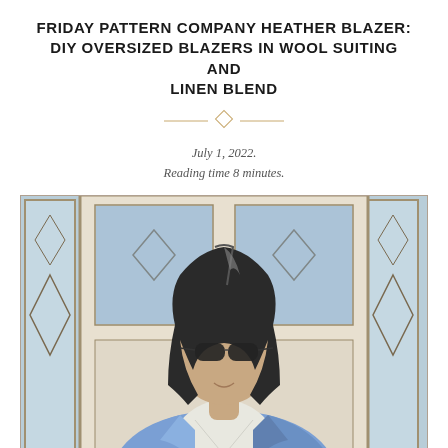FRIDAY PATTERN COMPANY HEATHER BLAZER: DIY OVERSIZED BLAZERS IN WOOL SUITING AND LINEN BLEND
July 1, 2022.
Reading time 8 minutes.
[Figure (photo): Woman wearing an oversized blue linen blazer over a white shirt, standing in front of a white front door with decorative glass panels. She has dark shoulder-length hair and is wearing sunglasses.]